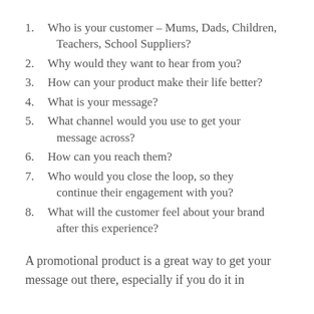Who is your customer – Mums, Dads, Children, Teachers, School Suppliers?
Why would they want to hear from you?
How can your product make their life better?
What is your message?
What channel would you use to get your message across?
How can you reach them?
Who would you close the loop, so they continue their engagement with you?
What will the customer feel about your brand after this experience?
A promotional product is a great way to get your message out there, especially if you do it in